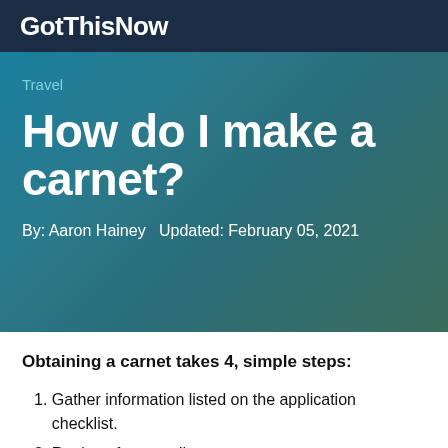GotThisNow
Travel
How do I make a carnet?
By: Aaron Hainey  Updated: February 05, 2021
Obtaining a carnet takes 4, simple steps:
1. Gather information listed on the application checklist.
2. Register for an online account.
3. Log in to complete and submit the online